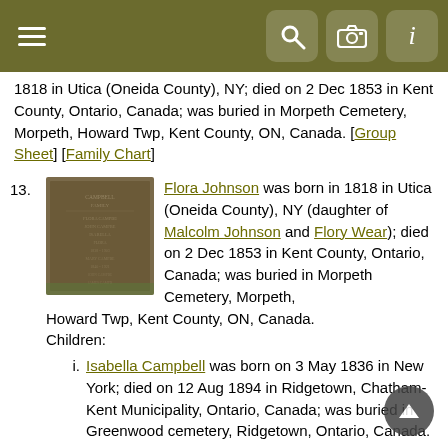Navigation toolbar with hamburger menu, search, camera, and info icons
1818 in Utica (Oneida County), NY; died on 2 Dec 1853 in Kent County, Ontario, Canada; was buried in Morpeth Cemetery, Morpeth, Howard Twp, Kent County, ON, Canada. [Group Sheet] [Family Chart]
13. Flora Johnson was born in 1818 in Utica (Oneida County), NY (daughter of Malcolm Johnson and Flory Wear); died on 2 Dec 1853 in Kent County, Ontario, Canada; was buried in Morpeth Cemetery, Morpeth, Howard Twp, Kent County, ON, Canada.
Children:
i. Isabella Campbell was born on 3 May 1836 in New York; died on 12 Aug 1894 in Ridgetown, Chatham-Kent Municipality, Ontario, Canada; was buried in Greenwood cemetery, Ridgetown, Ontario, Canada.
ii. Flora Campbell was born on 24 Feb 1838 in Howard Twp., Kent County, Ontario, Canada; died on 10 Aug 1903 in Ontario, Canada; was buried in Greenwood cemetery, Ridgetown, Ontario, Canada.
iii. Mary Campbell was born on 12 Apr 1840 in Kent, Ontario, Canada; died on 30 May 1921 in Wilson, Wilson, North Carolina, United States; was buried in Spring Grove